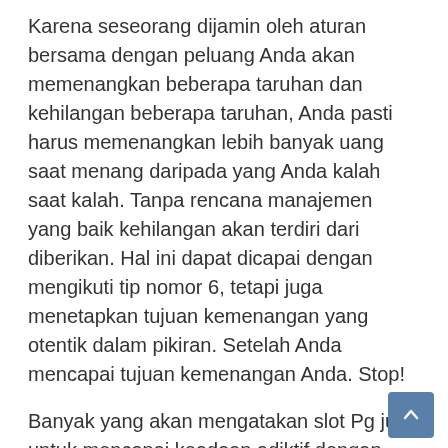Karena seseorang dijamin oleh aturan bersama dengan peluang Anda akan memenangkan beberapa taruhan dan kehilangan beberapa taruhan, Anda pasti harus memenangkan lebih banyak uang saat menang daripada yang Anda kalah saat kalah. Tanpa rencana manajemen yang baik kehilangan akan terdiri dari diberikan. Hal ini dapat dicapai dengan mengikuti tip nomor 6, tetapi juga menetapkan tujuan kemenangan yang otentik dalam pikiran. Setelah Anda mencapai tujuan kemenangan Anda. Stop!
Banyak yang akan mengatakan slot Pg juga untuk mencapai keadaan adiktif dengan poker. Dan dalam beberapa hal itu benar. Tapi yang dimaksud adalah kemauan dan pengendalian diri. Kuncinya adalah mengetahui kapan harus berhenti.
Slot Dorongan: Fitur slot di mana simbol pembayaran akan 'turun' membuat kemenangan. Mungkin bola basket, berlian, ceri atau simbol liar. Ini hanya membutuhkan sedikit